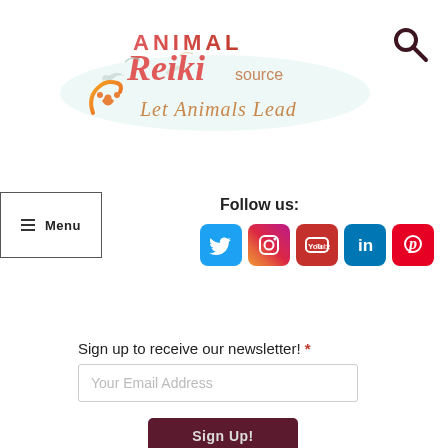[Figure (logo): Animal Reiki Source logo with text 'ANIMAL Reiki source' and tagline 'Let Animals Lead', with decorative birds and paw print]
[Figure (other): Search magnifying glass icon in dark brown/maroon color]
≡ Menu
Follow us:
[Figure (infographic): Social media icons row: Twitter (blue bird), Instagram (gradient camera), YouTube (red play), LinkedIn (blue in), Pinterest (red P)]
Sign up to receive our newsletter! *
Your Email Address
Sign Up!